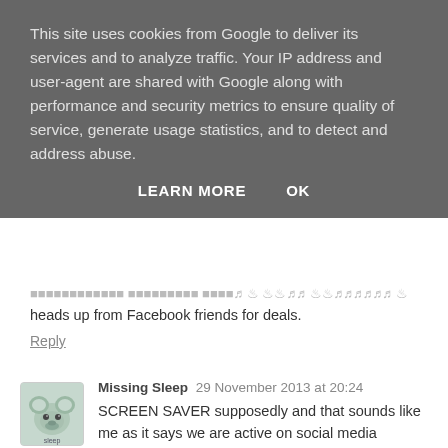This site uses cookies from Google to deliver its services and to analyze traffic. Your IP address and user-agent are shared with Google along with performance and security metrics to ensure quality of service, generate usage statistics, and to detect and address abuse.
LEARN MORE   OK
heads up from Facebook friends for deals.
Reply
Missing Sleep  29 November 2013 at 20:24
SCREEN SAVER supposedly and that sounds like me as it says we are active on social media tweeting etc :) x
Reply
Mama Undone  29 November 2013 at 20:24
Screen Saver apparently. ... Not convinced though!
MamaUndone | Tiaras & Prozac